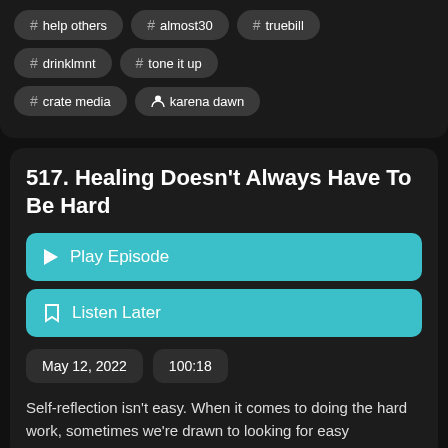# help others
# almost30
# truebill
# drinklmnt
# tone it up
# crate media
karena dawn
517. Healing Doesn't Always Have To Be Hard
Play Episode
Listen Later
May 12, 2022
100:18
Self-reflection isn't easy. When it comes to doing the hard work, sometimes we're drawn to looking for easy